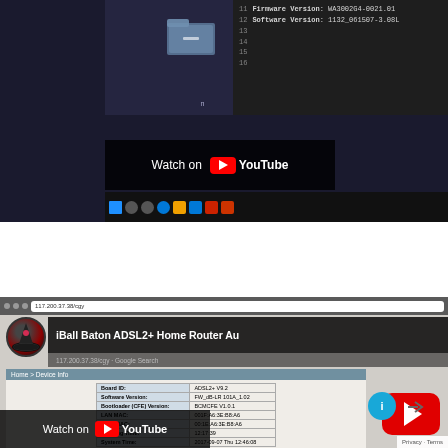[Figure (screenshot): Top half of a YouTube video thumbnail showing a Windows desktop with a dark code editor panel on the right displaying Firmware Version: WA3002G4-0021.01 and Software Version: 1132_061507-3.08L on lines 11-16, a folder icon area on the left, and a 'Watch on YouTube' overlay button at the bottom.]
[Figure (screenshot): Second YouTube video thumbnail showing iBall Baton ADSL2+ Home Router audit page. The video shows a browser with a router admin page displaying Device Info and ADSL Info tables. A YouTube play button is visible in the center-right. A 'Watch on YouTube' overlay is at the bottom. A Privacy/Terms badge appears at bottom right.]